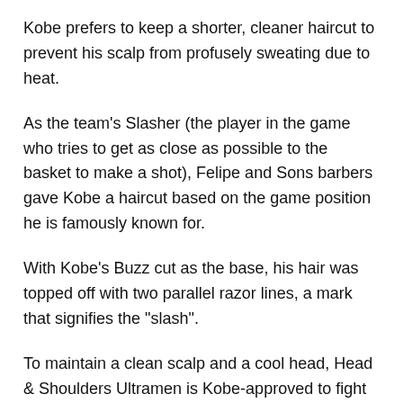Kobe prefers to keep a shorter, cleaner haircut to prevent his scalp from profusely sweating due to heat.
As the team's Slasher (the player in the game who tries to get as close as possible to the basket to make a shot), Felipe and Sons barbers gave Kobe a haircut based on the game position he is famously known for.
With Kobe's Buzz cut as the base, his hair was topped off with two parallel razor lines, a mark that signifies the "slash".
To maintain a clean scalp and a cool head, Head & Shoulders Ultramen is Kobe-approved to fight against heat to avoid dandruff and itch caused by sweating.